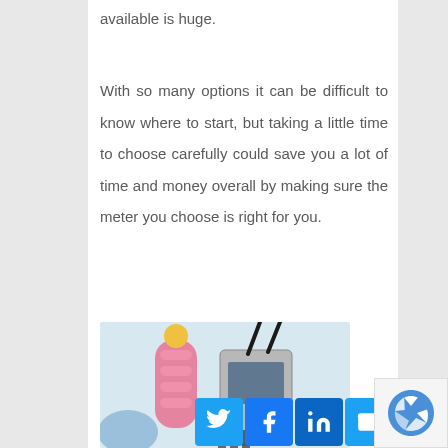available is huge.
With so many options it can be difficult to know where to start, but taking a little time to choose carefully could save you a lot of time and money overall by making sure the meter you choose is right for you.
[Figure (photo): Photo of a handheld electronic meter/measuring device with cables attached, surrounded by colorful objects (pink, yellow, blue) on a light background.]